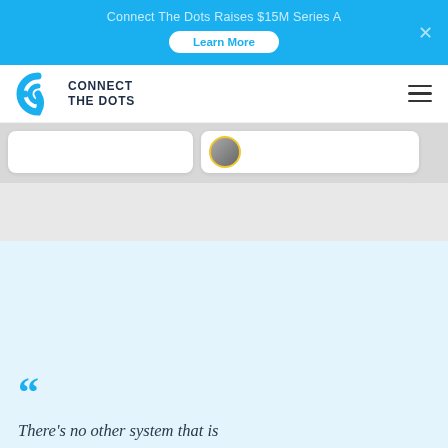Connect The Dots Raises $15M Series A
Learn More
[Figure (logo): Connect The Dots logo with circular icon and text]
[Figure (screenshot): Partial UI cards with user avatar visible]
There's no other system that is